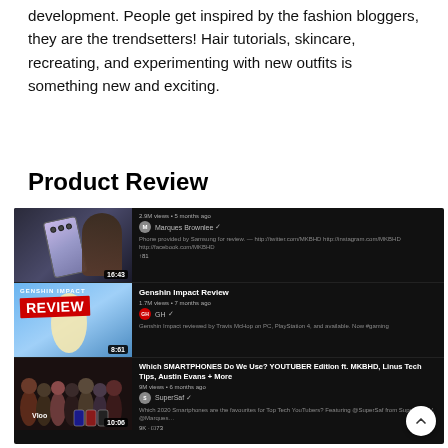development. People get inspired by the fashion bloggers, they are the trendsetters! Hair tutorials, skincare, recreating, and experimenting with new outfits is something new and exciting.
Product Review
[Figure (screenshot): Screenshot of a YouTube-like dark-themed video listing showing three product review videos: a Samsung phone review by Marques Brownlee, a Genshin Impact Review, and a video about which smartphones YouTubers use featuring MKBHD, Linus Tech Tips, Austin Evans and more.]